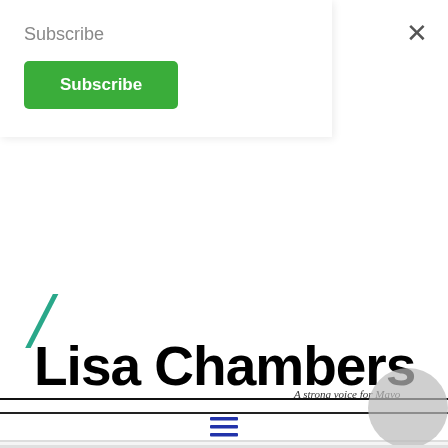Subscribe
Subscribe
[Figure (logo): Lisa Chambers logo with text 'Lisa Chambers' in large bold font and tagline 'A strong voice for Mayo' in italic below]
[Figure (other): Hamburger menu icon (three horizontal lines) in blue/navy color]
Archive for category: Public Service